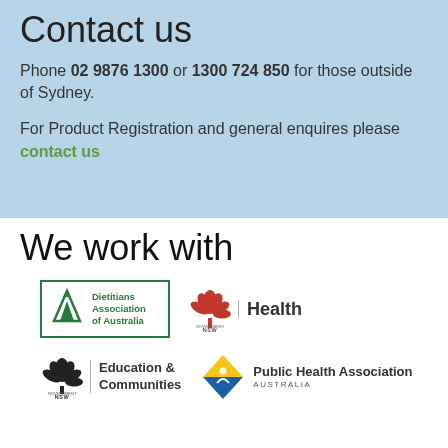Contact us
Phone 02 9876 1300 or 1300 724 850 for those outside of Sydney.
For Product Registration and general enquires please contact us
We work with
[Figure (logo): DAA Dietitians Association of Australia logo - green bordered box with green mountain/triangle icon and text]
[Figure (logo): NSW Government Health logo - red lotus flower icon with NSW Government text and Health in bold]
[Figure (logo): NSW Government Education & Communities logo - black lotus flower icon with text]
[Figure (logo): Public Health Association Australia logo - yellow and blue X/star icon with text]
HOSTED BY